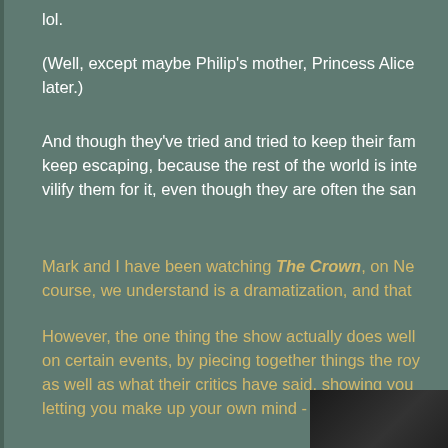lol.
(Well, except maybe Philip's mother, Princess Alice later.)
And though they've tried and tried to keep their fam keep escaping, because the rest of the world is inte vilify them for it, even though they are often the san
Mark and I have been watching The Crown, on Ne course, we understand is a dramatization, and that
However, the one thing the show actually does well on certain events, by piecing together things the roy as well as what their critics have said, showing you letting you make up your own mind - IMO, the show
[Figure (photo): Dark image partially visible at bottom right corner]